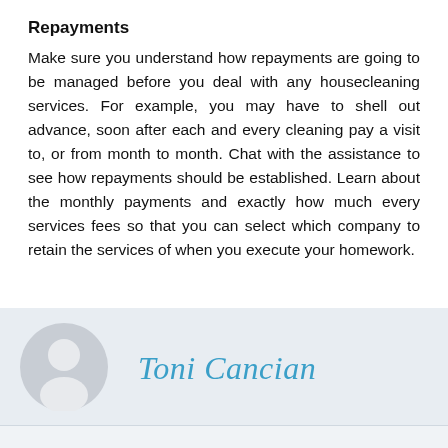Repayments
Make sure you understand how repayments are going to be managed before you deal with any housecleaning services. For example, you may have to shell out advance, soon after each and every cleaning pay a visit to, or from month to month. Chat with the assistance to see how repayments should be established. Learn about the monthly payments and exactly how much every services fees so that you can select which company to retain the services of when you execute your homework.
Toni Cancian